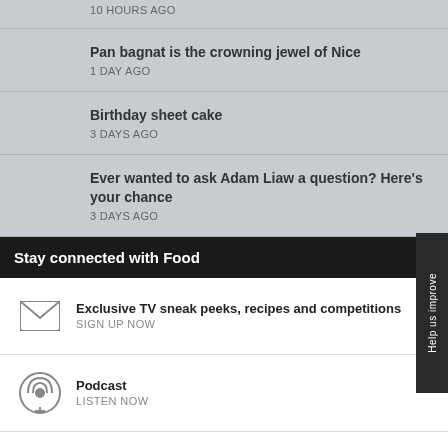10 HOURS AGO
Pan bagnat is the crowning jewel of Nice
1 DAY AGO
Birthday sheet cake
3 DAYS AGO
Ever wanted to ask Adam Liaw a question? Here's your chance
3 DAYS AGO
Stay connected with Food
Exclusive TV sneak peeks, recipes and competitions
SIGN UP NOW
Podcast
LISTEN NOW
RSS
SUBSCRIBE NOW
Help us improve